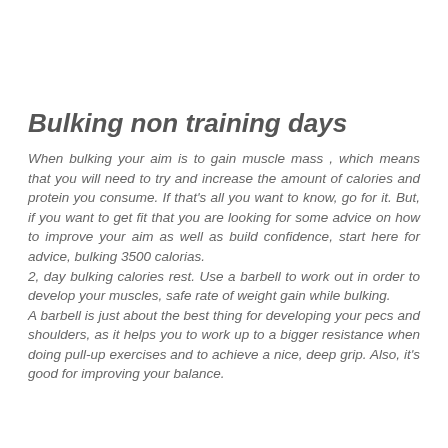Bulking non training days
When bulking your aim is to gain muscle mass , which means that you will need to try and increase the amount of calories and protein you consume. If that's all you want to know, go for it. But, if you want to get fit that you are looking for some advice on how to improve your aim as well as build confidence, start here for advice, bulking 3500 calorias.
2, day bulking calories rest. Use a barbell to work out in order to develop your muscles, safe rate of weight gain while bulking.
A barbell is just about the best thing for developing your pecs and shoulders, as it helps you to work up to a bigger resistance when doing pull-up exercises and to achieve a nice, deep grip. Also, it's good for improving your balance.